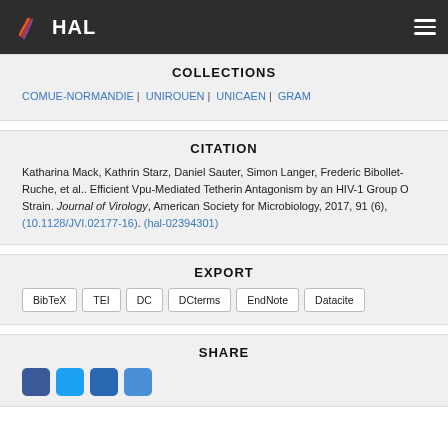HAL
COLLECTIONS
COMUE-NORMANDIE | UNIROUEN | UNICAEN | GRAM
CITATION
Katharina Mack, Kathrin Starz, Daniel Sauter, Simon Langer, Frederic Bibollet-Ruche, et al.. Efficient Vpu-Mediated Tetherin Antagonism by an HIV-1 Group O Strain. Journal of Virology, American Society for Microbiology, 2017, 91 (6), (10.1128/JVI.02177-16). (hal-02394301)
EXPORT
BibTeX
TEI
DC
DCterms
EndNote
Datacite
SHARE